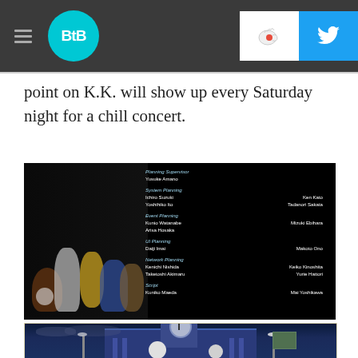BtB — website header with hamburger menu, BtB logo, Ko-fi button, Twitter button
point on K.K. will show up every Saturday night for a chill concert.
[Figure (screenshot): Game screenshot showing Animal Crossing characters on a dark background with scrolling credits listing: Planning Supervisor Yusuke Amano; System Planning Ichiro Suzuki, Yoshihiko Ito, Ken Kato, Tadanori Sakata; Event Planning Kunio Watanabe, Arisa Hosaka, Mizuki Ebihara; UI Planning Daiji Imai, Makoto Ono; Network Planning Kenichi Nishida, Taketoshi Akimaru, Keiko Kinoshita, Yurie Hattori; Script Kuniko Maeda, Mai Yoshikawa]
[Figure (screenshot): Game screenshot showing K.K. Slider performing outside a building at night, blue-lit clock tower, another character standing nearby]